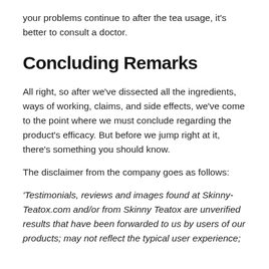your problems continue to after the tea usage, it's better to consult a doctor.
Concluding Remarks
All right, so after we've dissected all the ingredients, ways of working, claims, and side effects, we've come to the point where we must conclude regarding the product's efficacy. But before we jump right at it, there's something you should know.
The disclaimer from the company goes as follows:
'Testimonials, reviews and images found at Skinny-Teatox.com and/or from Skinny Teatox are unverified results that have been forwarded to us by users of our products; may not reflect the typical user experience;